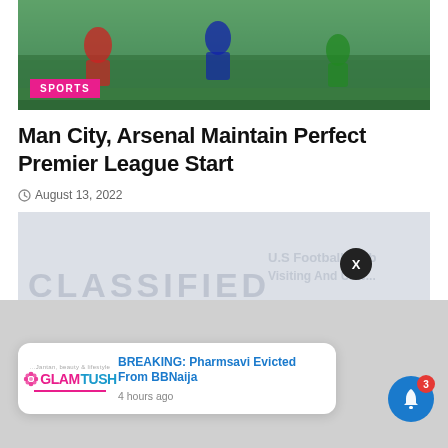[Figure (photo): Soccer/football players on a grass pitch, match action photo with green field background. SPORTS badge overlay in pink.]
Man City, Arsenal Maintain Perfect Premier League Start
August 13, 2022
[Figure (other): Blurred/classified advertisement placeholder with watermark text: CLASSIFIED, FOOTBALL, and partial text on right side.]
[Figure (other): Push notification popup from GlamTush: 'BREAKING: Pharmsavi Evicted From BBNaija' posted 4 hours ago, with X close button above it and blue notification bell with badge count 3.]